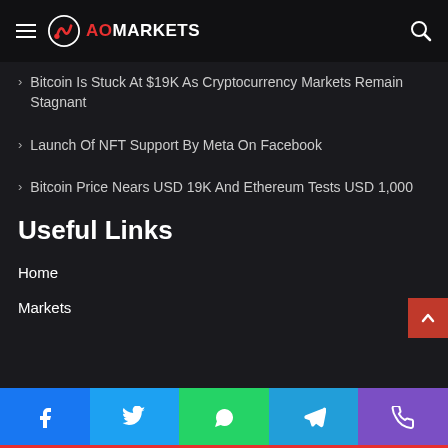AO MARKETS
Bitcoin Is Stuck At $19K As Cryptocurrency Markets Remain Stagnant
Launch Of NFT Support By Meta On Facebook
Bitcoin Price Nears USD 19K And Ethereum Tests USD 1,000
Useful Links
Home
Markets
Crypto
Finance